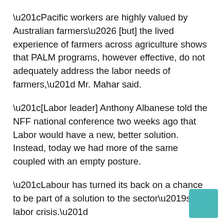“Pacific workers are highly valued by Australian farmers… [but] the lived experience of farmers across agriculture shows that PALM programs, however effective, do not adequately address the labor needs of farmers,” Mr. Mahar said.
“[Labor leader] Anthony Albanese told the NFF national conference two weeks ago that Labor would have a new, better solution. Instead, today we had more of the same coupled with an empty posture.
“Labour has turned its back on a chance to be part of a solution to the sector’s labor crisis.”
Tell us your top three election issues below: